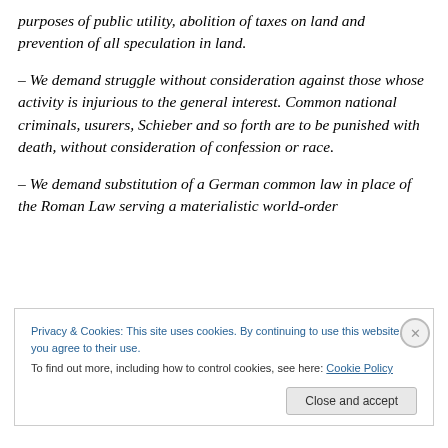purposes of public utility, abolition of taxes on land and prevention of all speculation in land.
– We demand struggle without consideration against those whose activity is injurious to the general interest. Common national criminals, usurers, Schieber and so forth are to be punished with death, without consideration of confession or race.
– We demand substitution of a German common law in place of the Roman Law serving a materialistic world-order
Privacy & Cookies: This site uses cookies. By continuing to use this website, you agree to their use.
To find out more, including how to control cookies, see here: Cookie Policy
Close and accept